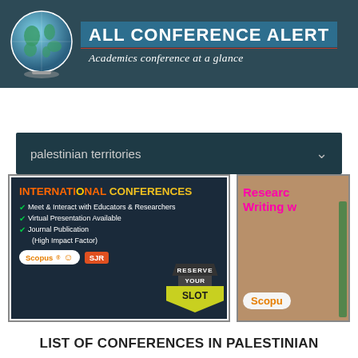[Figure (logo): All Conference Alert logo with globe and text 'ALL CONFERENCE ALERT - Academics conference at a glance']
palestinian territories
[Figure (infographic): International Conferences ad banner: Meet & Interact with Educators & Researchers, Virtual Presentation Available, Journal Publication (High Impact Factor), Reserve Your Slot, Scopus SJR badges]
[Figure (infographic): Partially visible ad banner showing Research Writing with Scopus badge]
LIST OF CONFERENCES IN PALESTINIAN